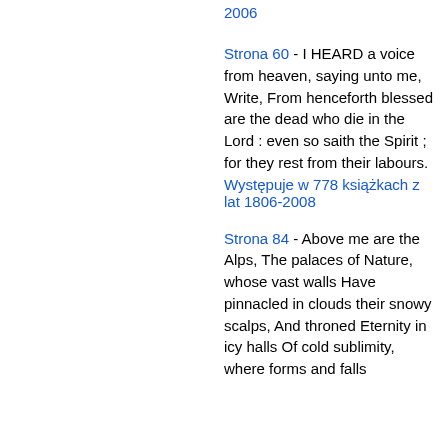2006
Strona 60 - I HEARD a voice from heaven, saying unto me, Write, From henceforth blessed are the dead who die in the Lord : even so saith the Spirit ; for they rest from their labours.
Występuje w 778 książkach z lat 1806-2008
Strona 84 - Above me are the Alps, The palaces of Nature, whose vast walls Have pinnacled in clouds their snowy scalps, And throned Eternity in icy halls Of cold sublimity, where forms and falls